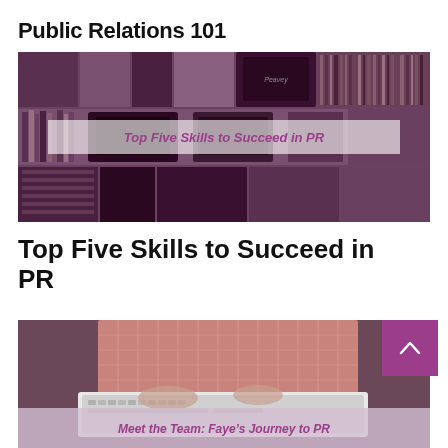Public Relations 101
[Figure (photo): Collage of shelves with electronics and media equipment in purple/dark tones, with a semi-transparent banner overlay reading 'Top Five Skills to Succeed in PR']
Top Five Skills to Succeed in PR
[Figure (photo): Person in pink/orange top typing on a white laptop, partially visible, with a dark muted background. Semi-transparent banner at the bottom reads 'Meet the Team: Faye's Journey to PR'. A purple square scroll-to-top button with a chevron arrow is overlaid on the right side.]